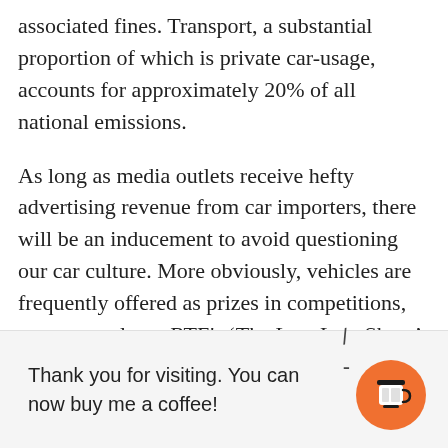associated fines. Transport, a substantial proportion of which is private car-usage, accounts for approximately 20% of all national emissions.
As long as media outlets receive hefty advertising revenue from car importers, there will be an inducement to avoid questioning our car culture. More obviously, vehicles are frequently offered as prizes in competitions, most recently on RTE's ‘The Late Late Show’ on
Thank you for visiting. You can now buy me a coffee!